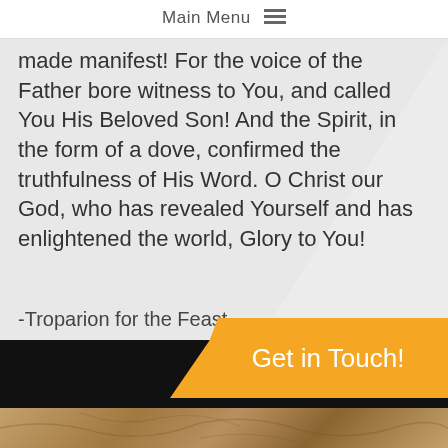Main Menu
made manifest! For the voice of the Father bore witness to You, and called You His Beloved Son! And the Spirit, in the form of a dove, confirmed the truthfulness of His Word. O Christ our God, who has revealed Yourself and has enlightened the world, Glory to You!
-Troparion for the Feast
Get in Touch!
About our Church
St. George is a member of the Ukrainian Greek Catholic Church, the